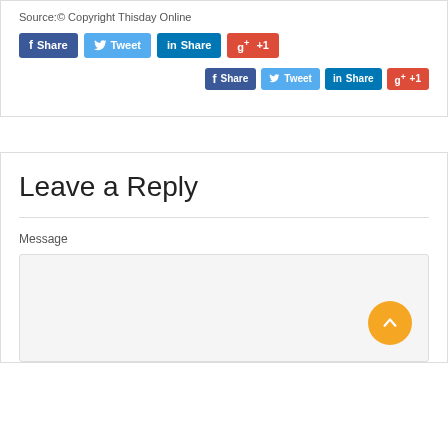Source:© Copyright Thisday Online
[Figure (screenshot): Social share buttons row 1: Facebook Share, Twitter Tweet, LinkedIn Share, Google +1]
[Figure (screenshot): Social share buttons row 2 (right-aligned): Facebook Share, Twitter Tweet, LinkedIn Share, Google +1]
Leave a Reply
Message
[Figure (screenshot): Message text area input box with upward scroll arrow button (orange circle)]